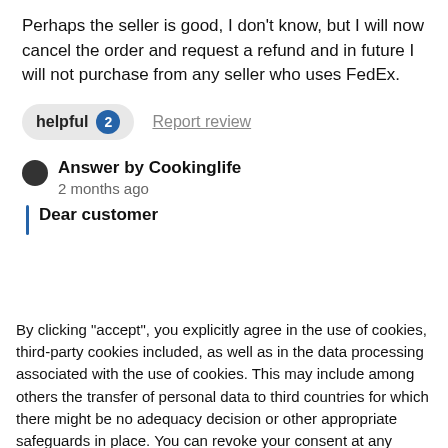Perhaps the seller is good, I don't know, but I will now cancel the order and request a refund and in future I will not purchase from any seller who uses FedEx.
helpful 2  Report review
Answer by Cookinglife
2 months ago
Dear customer
By clicking "accept", you explicitly agree in the use of cookies, third-party cookies included, as well as in the data processing associated with the use of cookies. This may include among others the transfer of personal data to third countries for which there might be no adequacy decision or other appropriate safeguards in place. You can revoke your consent at any given time with immediate effect for the future. You can find further information on the data processing purposes, opt-out options, your rights, and the risks of data transfers to third countries here.
ACCEPT